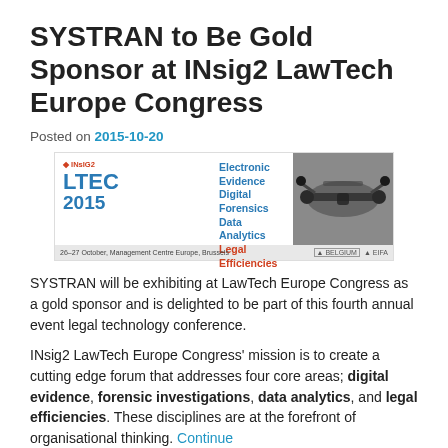SYSTRAN to Be Gold Sponsor at INsig2 LawTech Europe Congress
Posted on 2015-10-20
[Figure (infographic): INsig2 LTEC 2015 banner advertisement for LawTech Europe Congress showing drone image, topics: Electronic Evidence, Digital Forensics, Data Analytics, Legal Efficiencies, 26-27 October, Management Centre Europe, Brussels]
SYSTRAN will be exhibiting at LawTech Europe Congress as a gold sponsor and is delighted to be part of this fourth annual event legal technology conference.
INsig2 LawTech Europe Congress' mission is to create a cutting edge forum that addresses four core areas; digital evidence, forensic investigations, data analytics, and legal efficiencies. These disciplines are at the forefront of organisational thinking. Continue